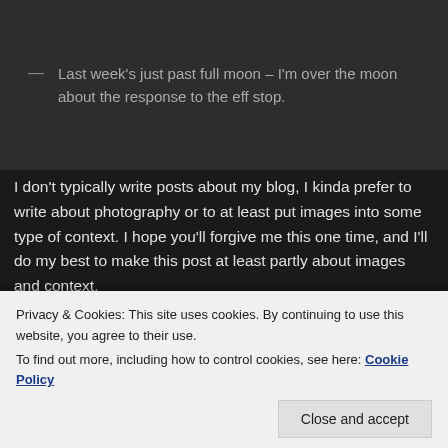[Figure (photo): Top portion of a photo (dark bar) partially visible at the very top of the page]
— Last week's just past full moon – I'm over the moon about the response to the eff stop.
I don't typically write posts about my blog, I kinda prefer to write about photography or to at least put images into some type of context. I hope you'll forgive me this one time, and I'll do my best to make this post at least partly about images and context.
[Figure (photo): A close-up photo of a flower (appears to be a rose or similar bloom) with pink and yellow tones, set against a blurred blue background with bokeh]
Privacy & Cookies: This site uses cookies. By continuing to use this website, you agree to their use.
To find out more, including how to control cookies, see here: Cookie Policy